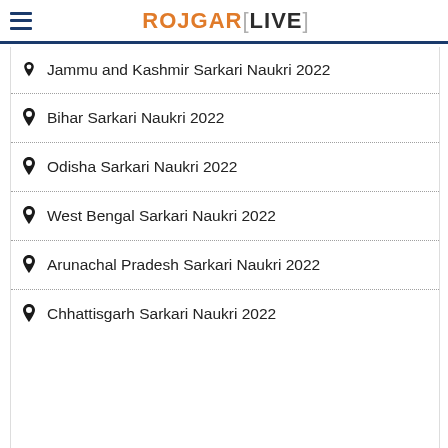ROJGARLIVE
Jammu and Kashmir Sarkari Naukri 2022
Bihar Sarkari Naukri 2022
Odisha Sarkari Naukri 2022
West Bengal Sarkari Naukri 2022
Arunachal Pradesh Sarkari Naukri 2022
Chhattisgarh Sarkari Naukri 2022